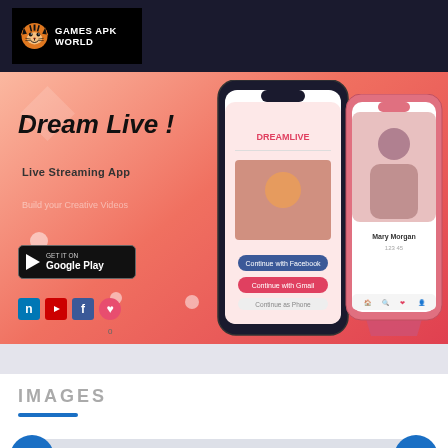GAMES APK WORLD
[Figure (screenshot): Dream Live! Live Streaming App promotional banner with two phone mockups showing the app, a YouTube play button overlay, Google Play badge, and social media icons on a coral/pink gradient background.]
IMAGES